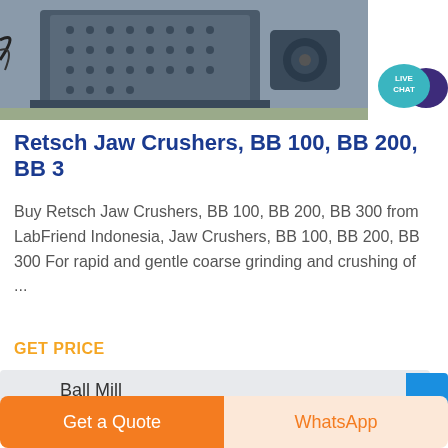[Figure (photo): Photo of a large industrial jaw crusher machine, dark gray metal construction, in a factory/warehouse setting]
Retsch Jaw Crushers, BB 100, BB 200, BB 3
Buy Retsch Jaw Crushers, BB 100, BB 200, BB 300 from LabFriend Indonesia, Jaw Crushers, BB 100, BB 200, BB 300 For rapid and gentle coarse grinding and crushing of ...
GET PRICE
Ball Mill
Get a Quote
WhatsApp